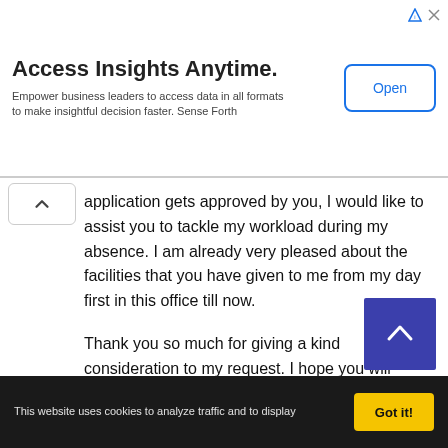[Figure (other): Advertisement banner: 'Access Insights Anytime.' with subtitle 'Empower business leaders to access data in all formats to make insightful decision faster. Sense Forth' and an Open button]
application gets approved by you, I would like to assist you to tackle my workload during my absence. I am already very pleased about the facilities that you have given to me from my day first in this office till now.
Thank you so much for giving a kind consideration to my request. I hope you will respond to my request to leave positively.
Regards,
Thomas Hamilton
This website uses cookies to analyze traffic and to display